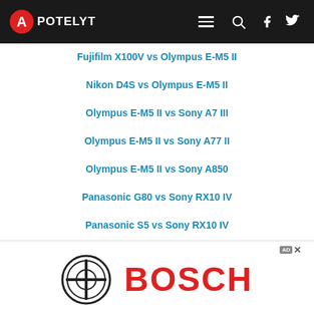APOTELYT
Fujifilm X100V vs Olympus E-M5 II
Nikon D4S vs Olympus E-M5 II
Olympus E-M5 II vs Sony A7 III
Olympus E-M5 II vs Sony A77 II
Olympus E-M5 II vs Sony A850
Panasonic G80 vs Sony RX10 IV
Panasonic S5 vs Sony RX10 IV
Sony A3000 vs Sony RX10 IV
Sony RX10 IV vs Sony RX100 IV
[Figure (logo): Bosch advertisement banner with circular Bosch logo and red BOSCH text]